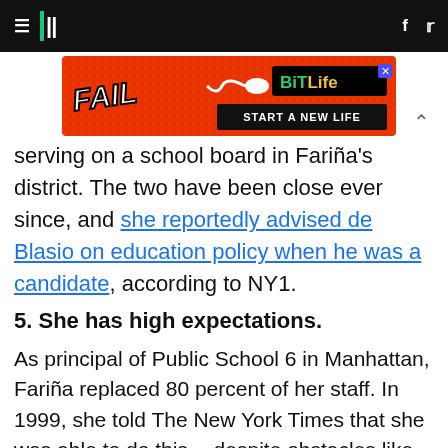HuffPost
[Figure (other): BitLife advertisement banner: FAIL text with cartoon character, START A NEW LIFE tagline]
serving on a school board in Fariña's district. The two have been close ever since, and she reportedly advised de Blasio on education policy when he was a candidate, according to NY1.
5. She has high expectations.
As principal of Public School 6 in Manhattan, Fariña replaced 80 percent of her staff. In 1999, she told The New York Times that she was able to do this -- despite obstacles like teacher tenure